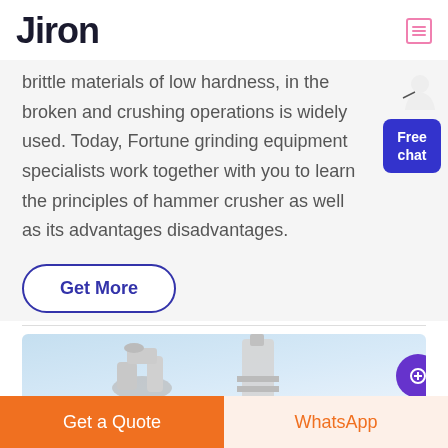Jiron
brittle materials of low hardness, in the broken and crushing operations is widely used. Today, Fortune grinding equipment specialists work together with you to learn the principles of hammer crusher as well as its advantages disadvantages.
[Figure (other): Free chat widget with person icon and blue button labeled 'Free chat']
Get More
[Figure (photo): Industrial machinery equipment photo showing metallic crusher/grinding components against blue sky background]
Get a Quote   WhatsApp